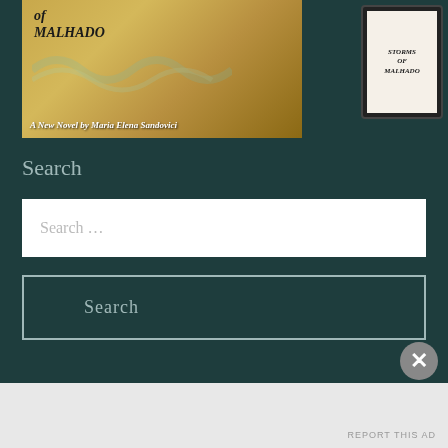[Figure (photo): Book cover and tablet showing 'Storms of Malhado' novel by Maria Elena Sandovici, displayed on a teal/dark green background. Physical book cover shows colorful artwork with waves. Text overlay reads 'A New Novel by Maria Elena Sandovici']
Search
Search …
Search
Follow Blog via Email